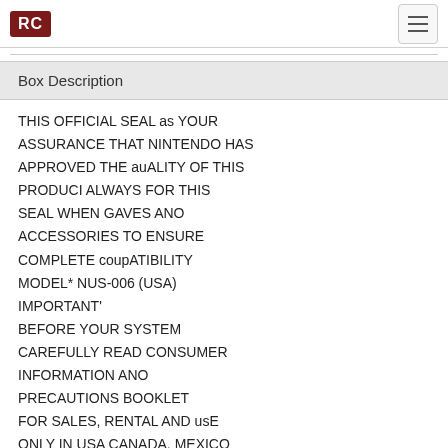RC
Box Description
THIS OFFICIAL SEAL as YOUR ASSURANCE THAT NINTENDO HAS APPROVED THE auALITY OF THIS PRODUCI ALWAYS FOR THIS SEAL WHEN GAVES ANO ACCESSORIES TO ENSURE COMPLETE coupATIBILITY MODEL* NUS-006 (USA) IMPORTANT' BEFORE YOUR SYSTEM CAREFULLY READ CONSUMER INFORMATION ANO PRECAUTIONS BOOKLET FOR SALES, RENTAL AND usE ONLY IN USA CANADA. MEXICO ANO LATIN AMERICA